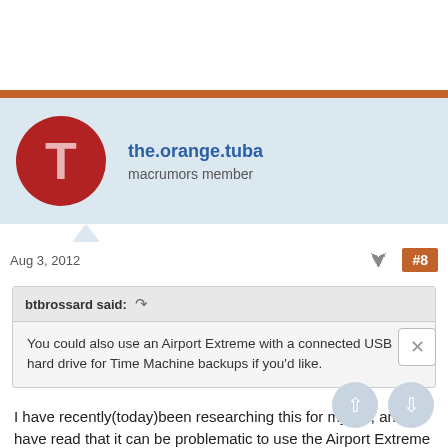[Figure (illustration): Red circular avatar with letter T for user the.orange.tuba]
the.orange.tuba
macrumors member
Aug 3, 2012
#8
btbrossard said: ↩
You could also use an Airport Extreme with a connected USB hard drive for Time Machine backups if you'd like.
I have recently(today)been researching this for myself, and have read that it can be problematic to use the Airport Extreme Base Station(AEBS) with a USB connected hard drive for Time Machine backup, and that it is not approved by Apple.
Here is what I found on Apple's site:
http://support.apple.com/kb/HT3029